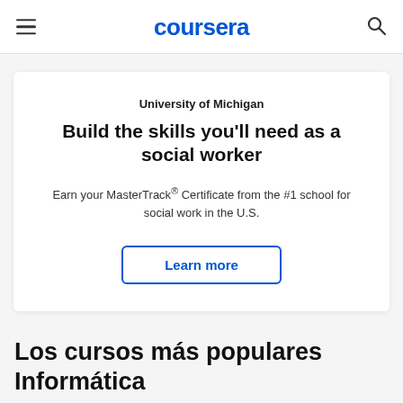coursera
University of Michigan
Build the skills you'll need as a social worker
Earn your MasterTrack® Certificate from the #1 school for social work in the U.S.
Learn more
Los cursos más populares Informática